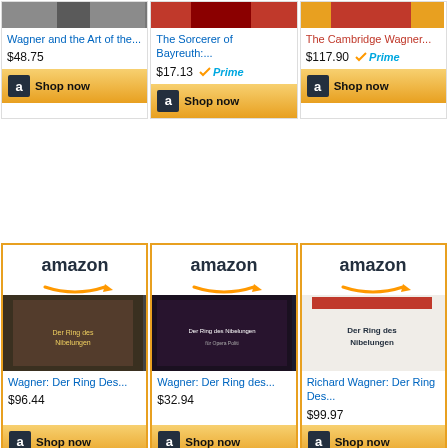[Figure (screenshot): Top row of Amazon product cards: Wagner and the Art of the... $48.75, The Sorcerer of Bayreuth:... $17.13 with Prime, The Cambridge Wagner... $117.90 with Prime]
[Figure (screenshot): Bottom row of Amazon product cards: Wagner: Der Ring Des... $96.44, Wagner: Der Ring des... $32.94, Richard Wagner: Der Ring Des... $99.97]